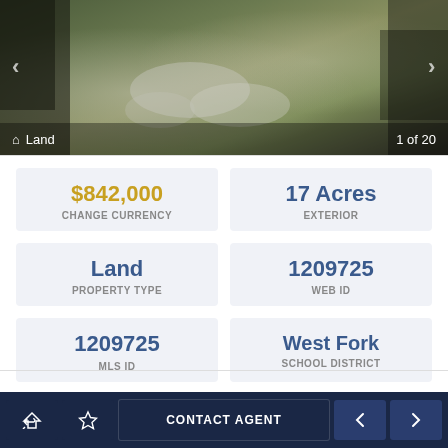[Figure (photo): Aerial/drone photo of a land parcel showing grassy field with rocks and surrounding trees, with navigation overlay showing '1 of 20' and 'Land' label]
$842,000 CHANGE CURRENCY
17 Acres EXTERIOR
Land PROPERTY TYPE
1209725 WEB ID
1209725 MLS ID
West Fork SCHOOL DISTRICT
CONTACT AGENT